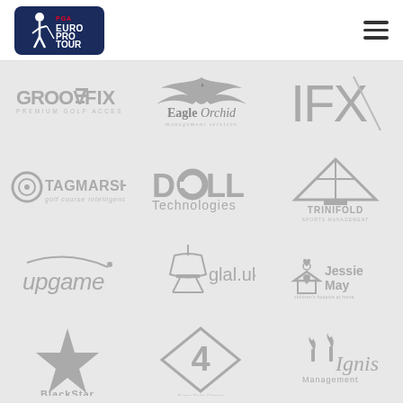[Figure (logo): PGA EuroPro Tour logo — navy rounded rectangle with golfer silhouette and text PGA EUROPRO TOUR]
[Figure (logo): Hamburger menu icon — three horizontal bars]
[Figure (logo): GrooveFix — Premium Golf Accessories logo in gray]
[Figure (logo): Eagle Orchid management services logo with phoenix/eagle wings]
[Figure (logo): IFX logo in large gray letters with diagonal slash]
[Figure (logo): Tagmarshal golf course intelligence logo with target/circle icon]
[Figure (logo): Dell Technologies logo in gray]
[Figure (logo): Trinifold Sports Management logo with triangle/pyramid]
[Figure (logo): upgame logo with curved line and dot]
[Figure (logo): glal.uk logo with lamp/light fixture icon]
[Figure (logo): Jessie May charitable home nursing logo with house icon]
[Figure (logo): BlackStar logo with large star]
[Figure (logo): Channel 4 / Stage Debt Cancel logo diamond shape with 4]
[Figure (logo): Ignis Management logo with candle flames]